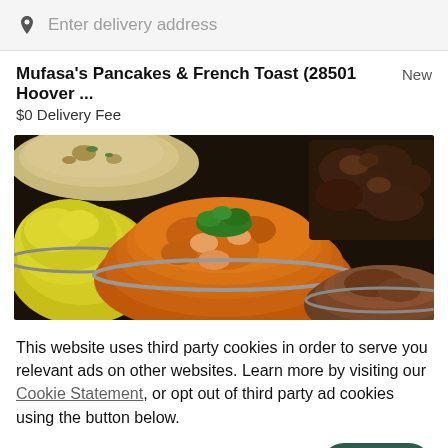Enter delivery address
Mufasa's Pancakes & French Toast (28501 Hoover ...
New
$0 Delivery Fee
[Figure (photo): Photo of Indian food dishes in metal bowls: yellow rice on left, orange curry with cilantro garnish in center, dark fried items on right, another dish partially visible bottom right]
This website uses third party cookies in order to serve you relevant ads on other websites. Learn more by visiting our Cookie Statement, or opt out of third party ad cookies using the button below.
OPT OUT
GOT IT